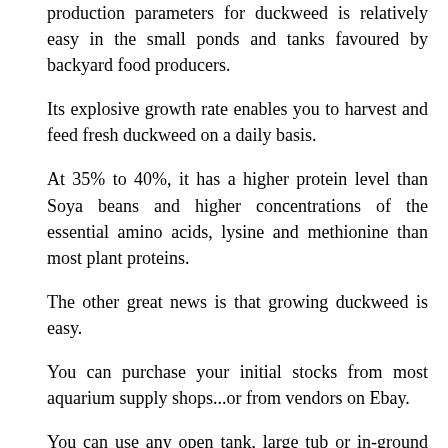production parameters for duckweed is relatively easy in the small ponds and tanks favoured by backyard food producers.
Its explosive growth rate enables you to harvest and feed fresh duckweed on a daily basis.
At 35% to 40%, it has a higher protein level than Soya beans and higher concentrations of the essential amino acids, lysine and methionine than most plant proteins.
The other great news is that growing duckweed is easy.
You can purchase your initial stocks from most aquarium supply shops...or from vendors on Ebay.
You can use any open tank, large tub or in-ground pond. Place smaller containers in semi-shade or somewhere that you are able to shelter them from the